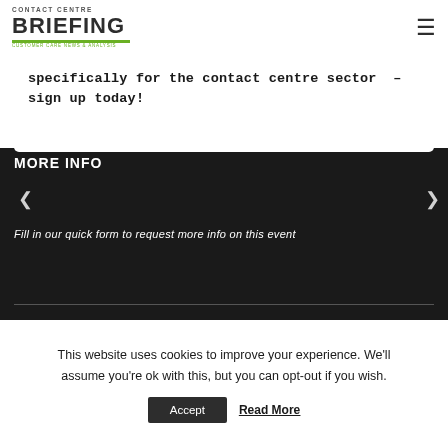Contact Centre Briefing
specifically for the contact centre sector – sign up today!
MORE INFO
Fill in our quick form to request more info on this event
This website uses cookies to improve your experience. We'll assume you're ok with this, but you can opt-out if you wish.
Accept   Read More